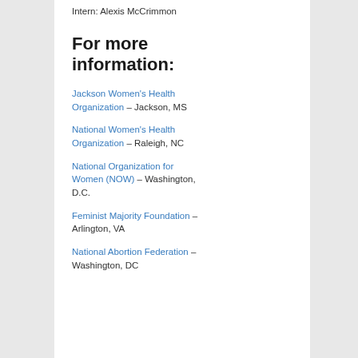Intern: Alexis McCrimmon
For more information:
Jackson Women's Health Organization – Jackson, MS
National Women's Health Organization – Raleigh, NC
National Organization for Women (NOW) – Washington, D.C.
Feminist Majority Foundation – Arlington, VA
National Abortion Federation – Washington, D.C.